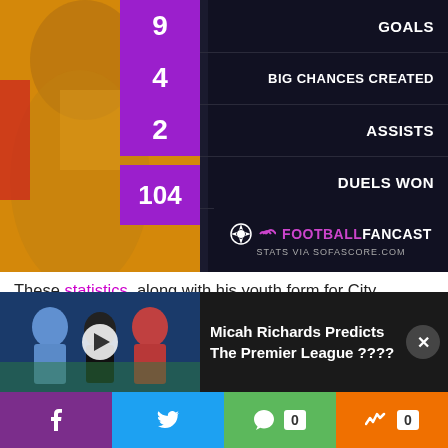[Figure (infographic): Football stats infographic showing player in yellow jersey with purple stat boxes: 9 Goals, 4 Big Chances Created, 2 Assists, 104 Duels Won. FootballFancast branding with stats via SofaScore.com.]
These statistics, along with his youth form for City, suggest that he has the natural ability to make things happen with the ball in the final third.
Matondo has the quality to score goals and did so at an
[Figure (screenshot): Video overlay bar showing Micah Richards Predicts The Premier League ???? with thumbnail showing football players and a play button.]
[Figure (infographic): Social sharing bar with Facebook, Twitter, comment (0), and like (0) buttons.]